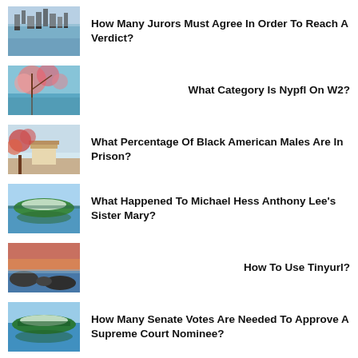How Many Jurors Must Agree In Order To Reach A Verdict?
What Category Is Nypfl On W2?
What Percentage Of Black American Males Are In Prison?
What Happened To Michael Hess Anthony Lee's Sister Mary?
How To Use Tinyurl?
How Many Senate Votes Are Needed To Approve A Supreme Court Nominee?